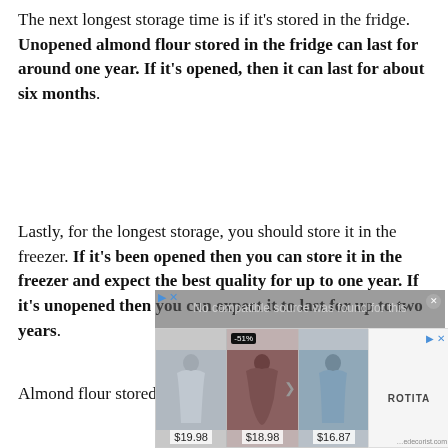The next longest storage time is if it's stored in the fridge. Unopened almond flour stored in the fridge can last for around one year. If it's opened, then it can last for about six months.
Lastly, for the longest storage, you should store it in the freezer. If it's been opened then you can store it in the freezer and expect the best quality for up to one year. If it's unopened then you can expect it to last for up to two years.
[Figure (screenshot): Ad overlay with text 'No compatible source was found for this' and clothing advertisement banner showing three dresses priced at $19.98, $18.98 (-51%), $16.87 from ROTITA]
Almond flour stored in the freezer it will be